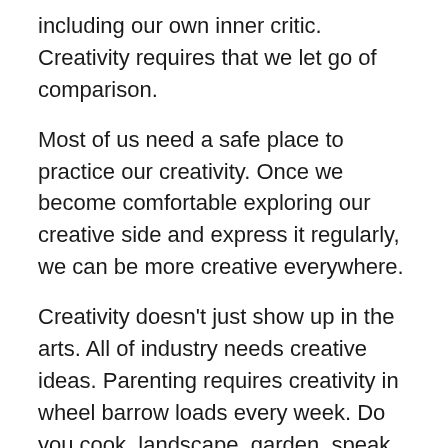including our own inner critic. Creativity requires that we let go of comparison.
Most of us need a safe place to practice our creativity. Once we become comfortable exploring our creative side and express it regularly, we can be more creative everywhere.
Creativity doesn't just show up in the arts. All of industry needs creative ideas. Parenting requires creativity in wheel barrow loads every week. Do you cook, landscape, garden, speak, teach, get dressed everyday, work, learn? If you do any of these things YOU are tapping into your creativity gene.
Try this journaling activity:
1. Try this on. Say, out loud, “I am creative.” How did it